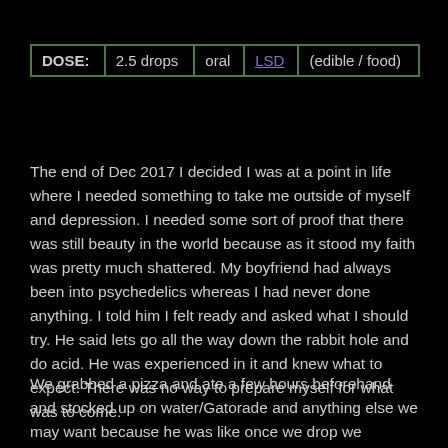| DOSE: | 2.5 drops | oral | LSD | (edible / food) |
| --- | --- | --- | --- | --- |
The end of Dec 2017 I decided I was at a point in life where I needed something to take me outside of myself and depression. I needed some sort of proof that there was still beauty in the world because as it stood my faith was pretty much shattered. My boyfriend had always been into psychedelics whereas I had never done anything. I told him I felt ready and asked what I should try. He said lets go all the way down the rabbit hole and do acid. He was experienced in it and knew what to expect. There was no way to prepare myself for what was to come.
We grabbed a pizza and ate a few hours beforehand and stocked up on water/Gatorade and anything else we may want because he was like once we drop we